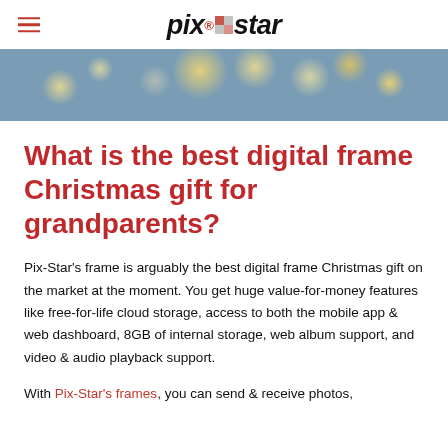pix-star logo with hamburger menu
[Figure (photo): Blurred Christmas bokeh background image with golden and white light orbs on a blue-grey background]
What is the best digital frame Christmas gift for grandparents?
Pix-Star's frame is arguably the best digital frame Christmas gift on the market at the moment. You get huge value-for-money features like free-for-life cloud storage, access to both the mobile app & web dashboard, 8GB of internal storage, web album support, and video & audio playback support.
With Pix-Star's frames, you can send & receive photos,